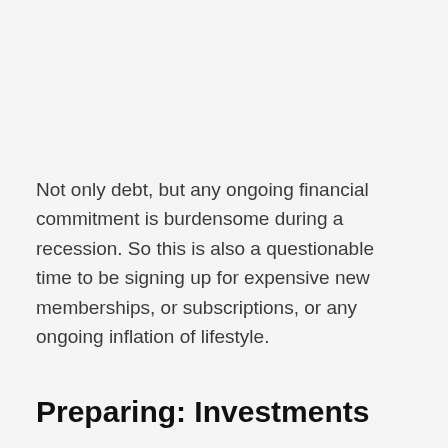Not only debt, but any ongoing financial commitment is burdensome during a recession. So this is also a questionable time to be signing up for expensive new memberships, or subscriptions, or any ongoing inflation of lifestyle.
Preparing: Investments
What about your investments, specifically your